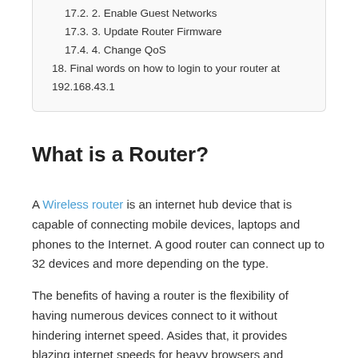17.2. 2. Enable Guest Networks
17.3. 3. Update Router Firmware
17.4. 4. Change QoS
18. Final words on how to login to your router at 192.168.43.1
What is a Router?
A Wireless router is an internet hub device that is capable of connecting mobile devices, laptops and phones to the Internet. A good router can connect up to 32 devices and more depending on the type.
The benefits of having a router is the flexibility of having numerous devices connect to it without hindering internet speed. Asides that, it provides blazing internet speeds for heavy browsers and downloaders. It can also serve as a point where two or more devices connect to